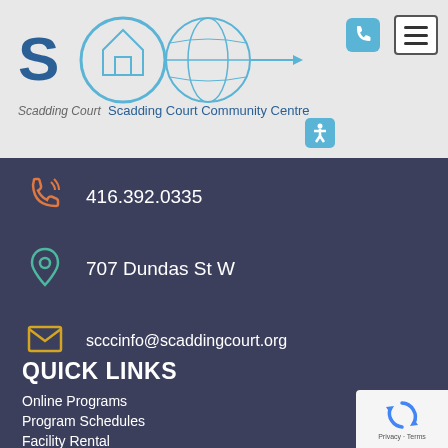[Figure (logo): Scadding Court Community Centre logo with stylized SCCC letters and globe/house icon]
416.392.0335
707 Dundas St W
scccinfo@scaddingcourt.org
QUICK LINKS
Online Programs
Program Schedules
Facility Rental